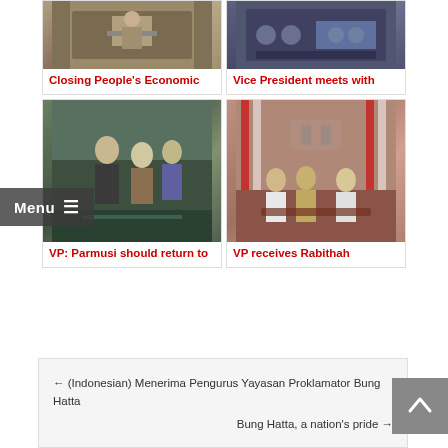[Figure (photo): Person at podium speaking at an event with banners in background]
Closing People's Economic
[Figure (photo): Vice President meeting with officials seated around a conference table]
Vice President meets with
[Figure (photo): VP: Parmusi should return to - people shaking hands at formal ceremony]
VP: Parmusi should return to
[Figure (photo): VP receives Rabithah - formal meeting in ornate room with red carpet]
VP receives Rabithah
← (Indonesian) Menerima Pengurus Yayasan Proklamator Bung Hatta
Bung Hatta, a nation's pride →